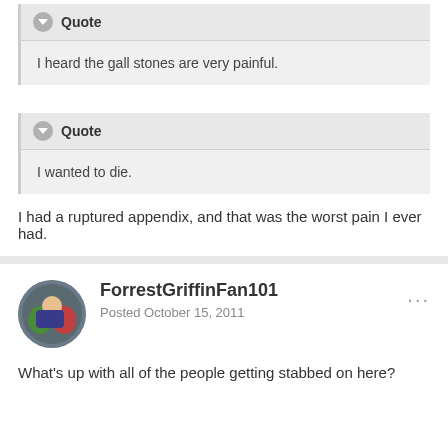Quote
I heard the gall stones are very painful.
Quote
I wanted to die.
I had a ruptured appendix, and that was the worst pain I ever had.
ForrestGriffinFan101
Posted October 15, 2011
What's up with all of the people getting stabbed on here?